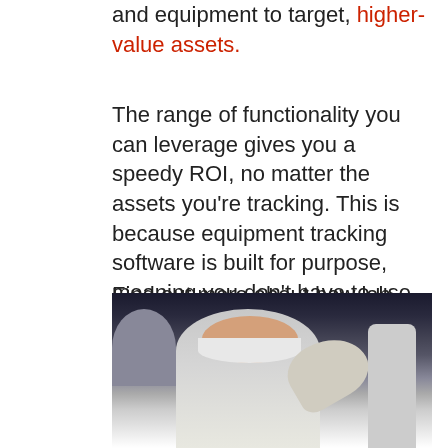and equipment to target, higher-value assets.
The range of functionality you can leverage gives you a speedy ROI, no matter the assets you're tracking. This is because equipment tracking software is built for purpose, meaning you don't have to use unwieldy, impossible to manage spreadsheets anymore!
Find out more about how lab equipment tracking software works and how it will benefit you, here.
[Figure (photo): A person wearing a face mask and gloves in a laboratory setting, reaching toward equipment. The image is cropped showing the upper body of the lab worker with lab equipment visible in the background.]